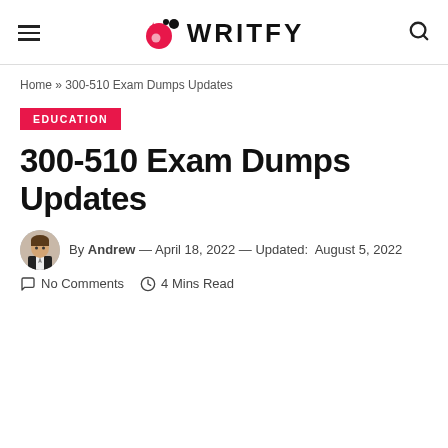WRITFY
Home » 300-510 Exam Dumps Updates
EDUCATION
300-510 Exam Dumps Updates
By Andrew — April 18, 2022 — Updated: August 5, 2022
No Comments  4 Mins Read